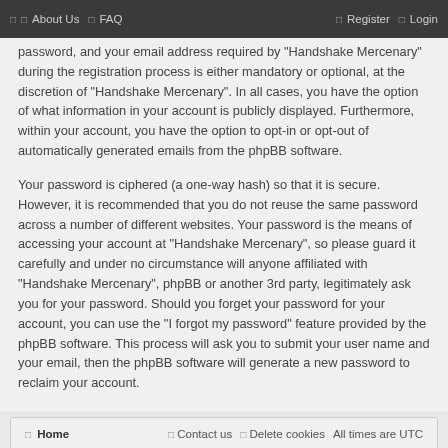☐  ☐  About Us   ☐  FAQ                                ☐  Register   ☐  Login
password, and your email address required by "Handshake Mercenary" during the registration process is either mandatory or optional, at the discretion of "Handshake Mercenary". In all cases, you have the option of what information in your account is publicly displayed. Furthermore, within your account, you have the option to opt-in or opt-out of automatically generated emails from the phpBB software.
Your password is ciphered (a one-way hash) so that it is secure. However, it is recommended that you do not reuse the same password across a number of different websites. Your password is the means of accessing your account at "Handshake Mercenary", so please guard it carefully and under no circumstance will anyone affiliated with "Handshake Mercenary", phpBB or another 3rd party, legitimately ask you for your password. Should you forget your password for your account, you can use the "I forgot my password" feature provided by the phpBB software. This process will ask you to submit your user name and your email, then the phpBB software will generate a new password to reclaim your account.
☐  Home        ☐  Contact us   ☐  Delete cookies   All times are UTC
© 2021 Handshake Mercenary
Privacy | Terms